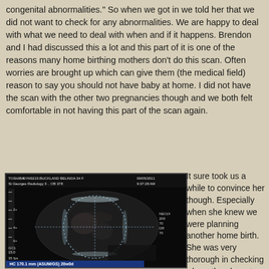congenital abnormalities." So when we got in we told her that we did not want to check for any abnormalities. We are happy to deal with what we need to deal with when and if it happens. Brendon and I had discussed this a lot and this part of it is one of the reasons many home birthing mothers don't do this scan. Often worries are brought up which can give them (the medical field) reason to say you should not have baby at home. I did not have the scan with the other two pregnancies though and we both felt comfortable in not having this part of the scan again.
[Figure (photo): Ultrasound image showing a fetus. Header reads: TOSHIBA SYM3215:BUCKLAND BELINDA 34 F St Georges Radiology 3 .. OB 378 09/05/2011 9:37:28 AM. Footer reads: HC 170.1 mm (ASUM/GS) 20w0d]
It sure took us a while to convince her though. Especially when she knew we were planning another home birth. She was very thorough in checking where the placenta was.